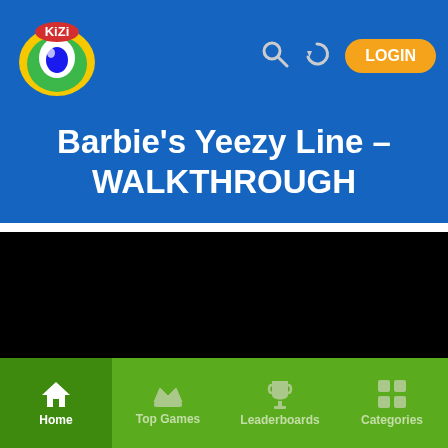Kizi - LOGIN
Barbie's Yeezy Line - WALKTHROUGH
[Figure (screenshot): Black video player area]
Home | Top Games | Leaderboards | Categories